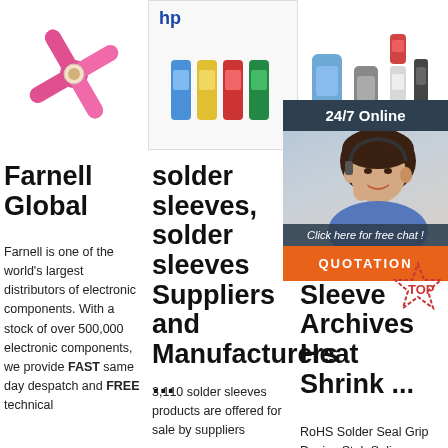[Figure (photo): Pink solder sleeve connector star shape]
[Figure (photo): Colored solder sleeves with HP logo above]
[Figure (photo): Heat shrink solder seal connectors in various sizes]
[Figure (infographic): 24/7 Online chat overlay with customer service rep photo and QUOTATION button]
Farnell Global
Farnell is one of the world's largest distributors of electronic components. With a stock of over 500,000 electronic components, we provide FAST same day despatch and FREE technical
solder sleeves, solder sleeves Suppliers and Manufacturers ...
3,110 solder sleeves products are offered for sale by suppliers
Heat Shrink Solder Seal Sleeve Archives Heat Shrink ...
RoHS Solder Seal Grip Device Stub Splice. RoHS Dual wall Solder